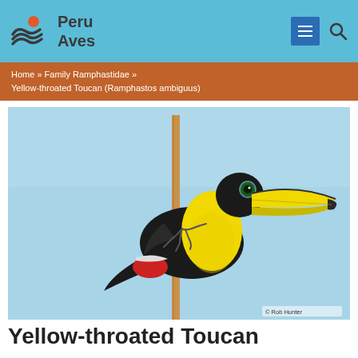Peru Aves
Home » Family Ramphastidae » Yellow-throated Toucan (Ramphastos ambiguus)
[Figure (photo): A Yellow-throated Toucan (Ramphastos ambiguus) perched on a wooden pole against a light blue sky, showing its distinctive large yellow beak and black body with yellow chest and red underparts. Photo credit: © Rob Hunter]
Yellow-throated Toucan